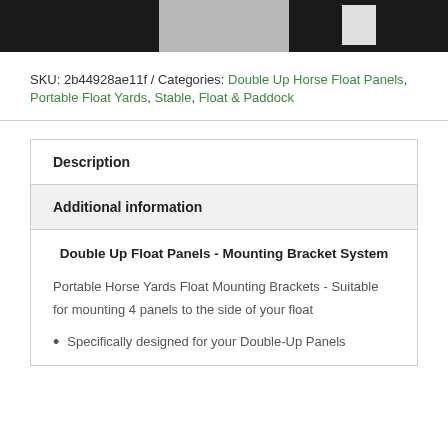[Figure (photo): Dark background photo showing a horse float/trailer with light-colored panel in center and white item on right]
SKU: 2b44928ae11f / Categories: Double Up Horse Float Panels, Portable Float Yards, Stable, Float & Paddock
| Description |
| Additional information |
Double Up Float Panels - Mounting Bracket System
Portable Horse Yards Float Mounting Brackets - Suitable for mounting 4 panels to the side of your float
Specifically designed for your Double-Up Panels